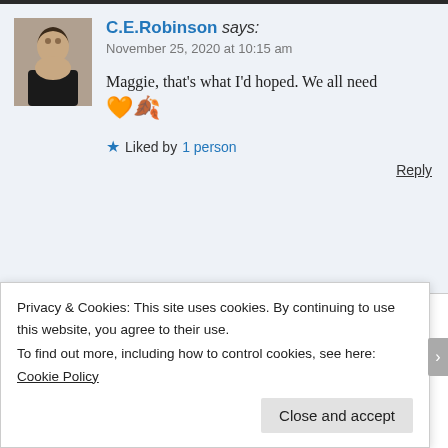C.E.Robinson says: November 25, 2020 at 10:15 am
Maggie, that's what I'd hoped. We all need 🧡👬
Liked by 1 person
Reply
Almost Iowa says: November 25, 2020 at 7:12 am
Privacy & Cookies: This site uses cookies. By continuing to use this website, you agree to their use.
To find out more, including how to control cookies, see here: Cookie Policy
Close and accept